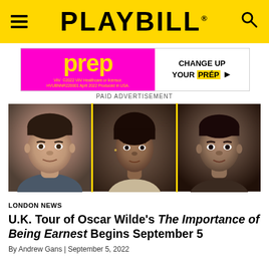PLAYBILL
[Figure (photo): Paid advertisement banner for PrEP medication - 'CHANGE UP YOUR PrEP']
PAID ADVERTISEMENT
[Figure (photo): Headshots of three Black male actors side by side separated by yellow dividers]
LONDON NEWS
U.K. Tour of Oscar Wilde's The Importance of Being Earnest Begins September 5
By Andrew Gans | September 5, 2022